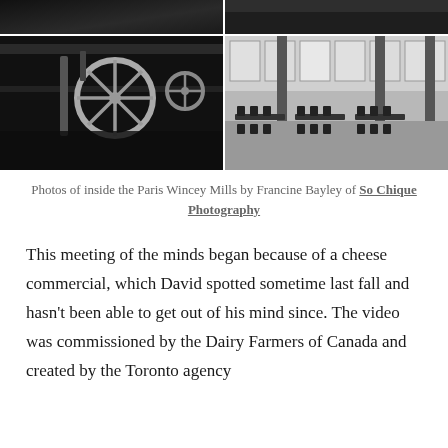[Figure (photo): Black and white photo strip at top — left side shows dark interior, right side shows dark textured ceiling/sky]
[Figure (photo): Two black and white photos side by side: left shows industrial machinery/wheel on ceiling, right shows empty event hall with chairs and tables, large windows]
Photos of inside the Paris Wincey Mills by Francine Bayley of So Chique Photography
This meeting of the minds began because of a cheese commercial, which David spotted sometime last fall and hasn't been able to get out of his mind since. The video was commissioned by the Dairy Farmers of Canada and created by the Toronto agency